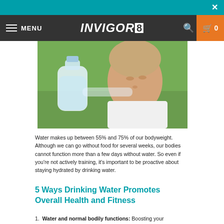INVIGOR8
[Figure (photo): A middle-aged woman drinking water from a plastic bottle outdoors, wearing a white towel around her neck. Green background.]
Water makes up between 55% and 75% of our bodyweight. Although we can go without food for several weeks, our bodies cannot function more than a few days without water. So even if you're not actively training, it's important to be proactive about staying hydrated by drinking water.
5 Ways Drinking Water Promotes Overall Health and Fitness
1. Water and normal bodily functions: Boosting your